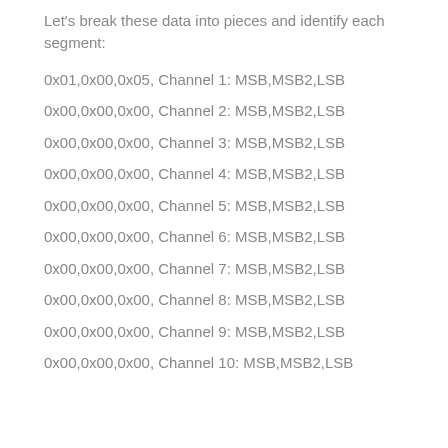Let's break these data into pieces and identify each segment:
0x01,0x00,0x05, Channel 1: MSB,MSB2,LSB
0x00,0x00,0x00, Channel 2: MSB,MSB2,LSB
0x00,0x00,0x00, Channel 3: MSB,MSB2,LSB
0x00,0x00,0x00, Channel 4: MSB,MSB2,LSB
0x00,0x00,0x00, Channel 5: MSB,MSB2,LSB
0x00,0x00,0x00, Channel 6: MSB,MSB2,LSB
0x00,0x00,0x00, Channel 7: MSB,MSB2,LSB
0x00,0x00,0x00, Channel 8: MSB,MSB2,LSB
0x00,0x00,0x00, Channel 9: MSB,MSB2,LSB
0x00,0x00,0x00, Channel 10: MSB,MSB2,LSB